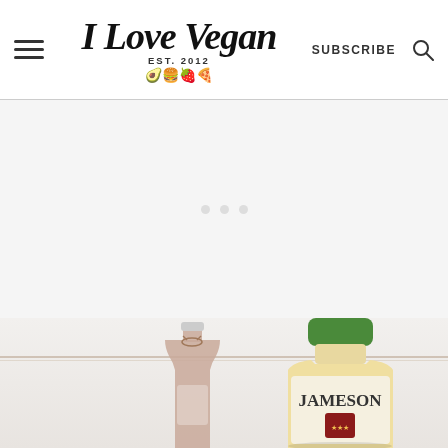I Love Vegan EST. 2012 | SUBSCRIBE
[Figure (photo): Advertisement placeholder area with loading dots]
[Figure (photo): Photo of a small milk bottle with chocolate-colored liquid and twine bow, next to a Jameson Irish Whiskey bottle, against a white wall background]